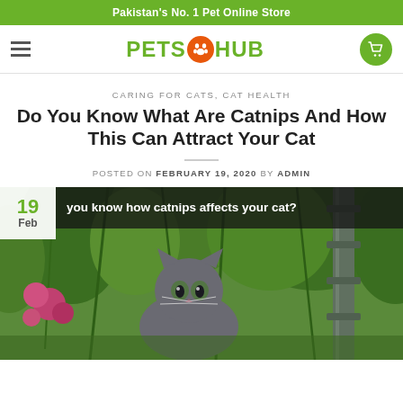Pakistan's No. 1 Pet Online Store
[Figure (logo): PetsHub logo with paw print icon in green and orange]
CARING FOR CATS, CAT HEALTH
Do You Know What Are Catnips And How This Can Attract Your Cat
POSTED ON FEBRUARY 19, 2020 BY ADMIN
[Figure (photo): A grey cat outdoors in a garden with green plants, pink flowers, and a metal post. Overlay shows date badge '19 Feb' and caption 'you know how catnips affects your cat?']